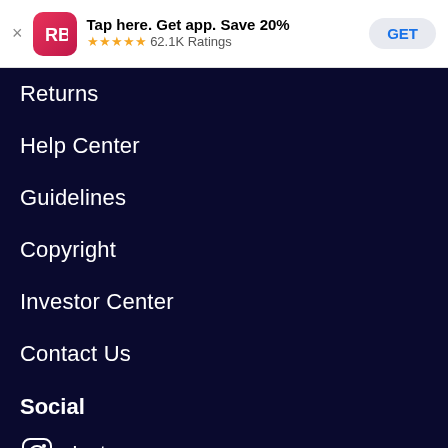[Figure (screenshot): App store banner with RB logo, 'Tap here. Get app. Save 20%', 5-star rating with 62.1K Ratings, and a GET button]
Returns
Help Center
Guidelines
Copyright
Investor Center
Contact Us
Social
Instagram
Facebook
Twitter
Tumblr